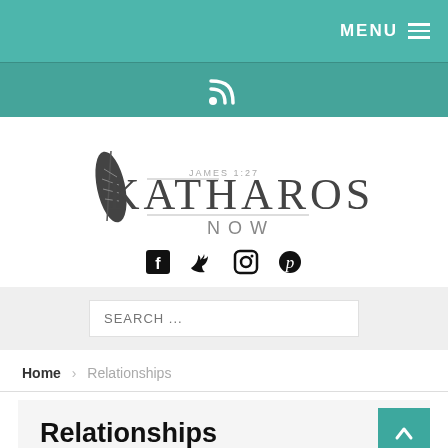MENU
[Figure (logo): RSS feed icon in white on teal background]
[Figure (logo): Katharos Now logo with feather, James 1:27 scripture reference]
[Figure (infographic): Social media icons: Facebook, Twitter, Instagram, Pinterest]
SEARCH ...
Home > Relationships
Relationships